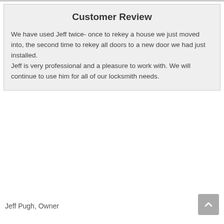Customer Review
We have used Jeff twice- once to rekey a house we just moved into, the second time to rekey all doors to a new door we had just installed.
Jeff is very professional and a pleasure to work with. We will continue to use him for all of our locksmith needs.
Jeff Pugh, Owner